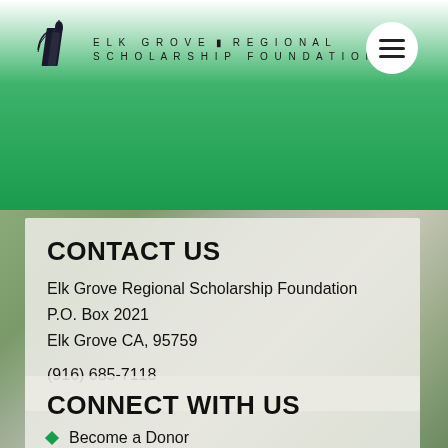[Figure (logo): Elk Grove Regional Scholarship Foundation logo with book/torch graphic and text]
CONTACT US
Elk Grove Regional Scholarship Foundation
P.O. Box 2021
Elk Grove CA, 95759

(916) 685-7118
CONNECT WITH US
Become a Donor
Become a Sponsor